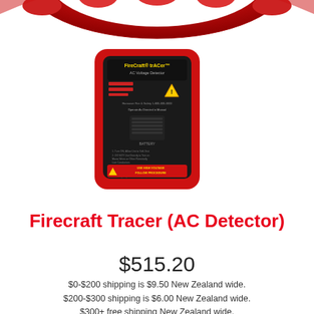[Figure (photo): Partial top view of a red rubber/silicone ring or hose component against white background]
[Figure (photo): FireCraft trACer AC Voltage Detector handheld device in red and black casing with yellow warning labels and text on the front panel]
Firecraft Tracer (AC Detector)
$515.20
$0-$200 shipping is $9.50 New Zealand wide. $200-$300 shipping is $6.00 New Zealand wide. $300+ free shipping New Zealand wide.